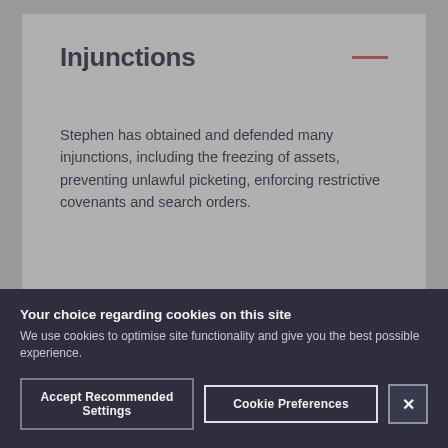Injunctions
Stephen has obtained and defended many injunctions, including the freezing of assets, preventing unlawful picketing, enforcing restrictive covenants and search orders.
General advisory
Your choice regarding cookies on this site
We use cookies to optimise site functionality and give you the best possible experience.
Accept Recommended Settings
Cookie Preferences